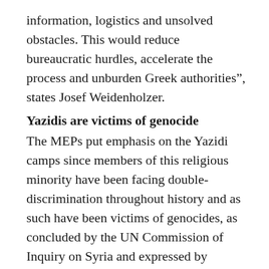information, logistics and unsolved obstacles. This would reduce bureaucratic hurdles, accelerate the process and unburden Greek authorities”, states Josef Weidenholzer.
Yazidis are victims of genocide
The MEPs put emphasis on the Yazidi camps since members of this religious minority have been facing double-discrimination throughout history and as such have been victims of genocides, as concluded by the UN Commission of Inquiry on Syria and expressed by resolutions of the European Parliament, National Parliaments and the US Congress. The most recent genocide happened in the summer of 2014 when the terrorist group ISIS attacked the Sinjar region in